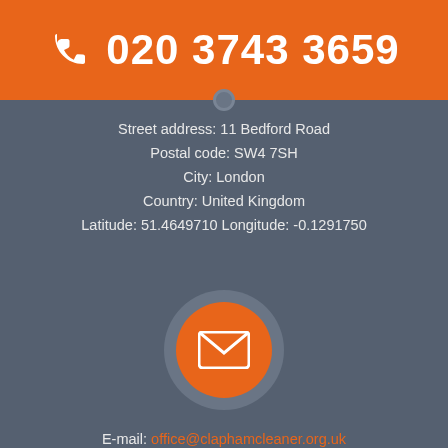020 3743 3659
Street address: 11 Bedford Road
Postal code: SW4 7SH
City: London
Country: United Kingdom
Latitude: 51.4649710 Longitude: -0.1291750
[Figure (infographic): Orange circle with white envelope/email icon]
E-mail: office@claphamcleaner.org.uk
Web: http://claphamcleaner.org.uk/
[Figure (infographic): Grey circle with upward chevron arrow icon on the left; orange circle with white phone handset icon in the center]
Company name: Clapham Cleaner